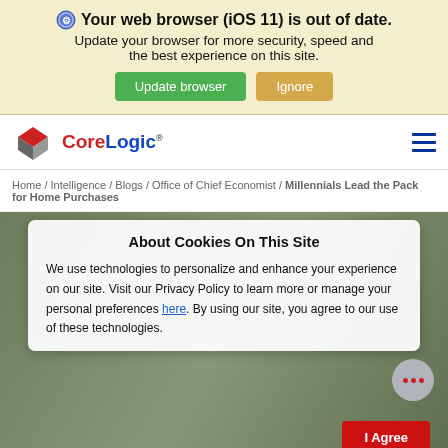Your web browser (iOS 11) is out of date. Update your browser for more security, speed and the best experience on this site. Update browser | Ignore
[Figure (logo): CoreLogic logo with diamond/cube icon in red and grey, text CoreLogic in red and blue]
Home / Intelligence / Blogs / Office of Chief Economist / Millennials Lead the Pack for Home Purchases
About Cookies On This Site
We use technologies to personalize and enhance your experience on our site. Visit our Privacy Policy to learn more or manage your personal preferences here. By using our site, you agree to our use of these technologies.
I Agree